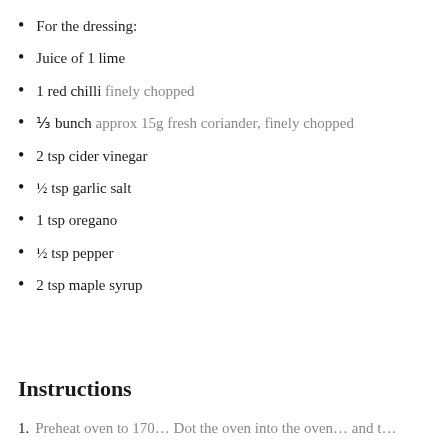For the dressing:
Juice of 1 lime
1 red chilli finely chopped
⅓ bunch approx 15g fresh coriander, finely chopped
2 tsp cider vinegar
½ tsp garlic salt
1 tsp oregano
½ tsp pepper
2 tsp maple syrup
Instructions
Preheat oven to 170… Dot the oven into the oven… and t…